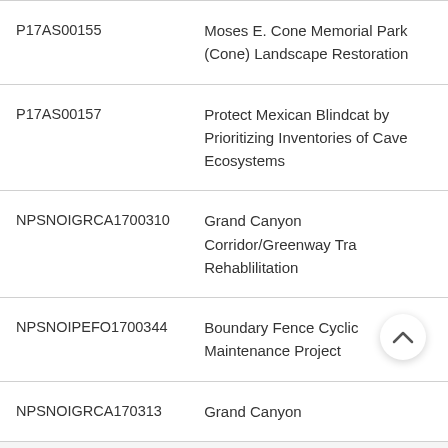| P17AS00155 | Moses E. Cone Memorial Park (Cone) Landscape Restoration |
| P17AS00157 | Protect Mexican Blindcat by Prioritizing Inventories of Cave Ecosystems |
| NPSNOIGRCA1700310 | Grand Canyon Corridor/Greenway Trai Rehablilitation |
| NPSNOIPEFO1700344 | Boundary Fence Cyclic Maintenance Project |
| NPSNOIGRCA170313 | Grand Canyon |